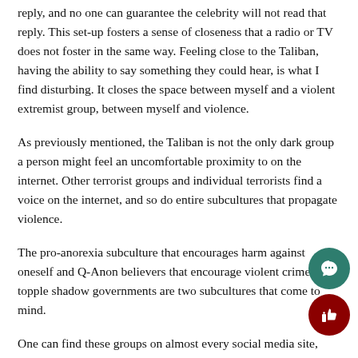reply, and no one can guarantee the celebrity will not read that reply. This set-up fosters a sense of closeness that a radio or TV does not foster in the same way. Feeling close to the Taliban, having the ability to say something they could hear, is what I find disturbing. It closes the space between myself and a violent extremist group, between myself and violence.
As previously mentioned, the Taliban is not the only dark group a person might feel an uncomfortable proximity to on the internet. Other terrorist groups and individual terrorists find a voice on the internet, and so do entire subcultures that propagate violence.
The pro-anorexia subculture that encourages harm against oneself and Q-Anon believers that encourage violent crime to topple shadow governments are two subcultures that come to mind.
One can find these groups on almost every social media site, waxing waning in visibility depending on what the public is interested in at the moment. Either group is easy to stumble upon. One can imagine how being into beauty and fitness culture could lead them to accidentally discover pro-anorexia accounts, or how liking true crime, politics and the